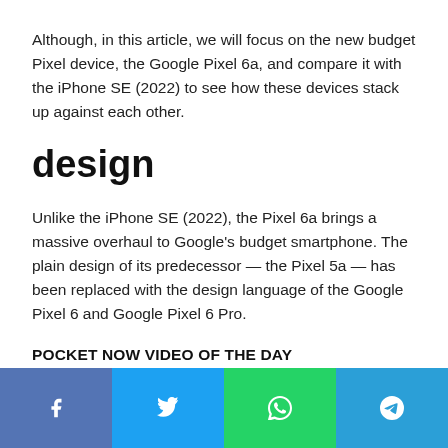Although, in this article, we will focus on the new budget Pixel device, the Google Pixel 6a, and compare it with the iPhone SE (2022) to see how these devices stack up against each other.
design
Unlike the iPhone SE (2022), the Pixel 6a brings a massive overhaul to Google's budget smartphone. The plain design of its predecessor — the Pixel 5a — has been replaced with the design language of the Google Pixel 6 and Google Pixel 6 Pro.
POCKET NOW VIDEO OF THE DAY